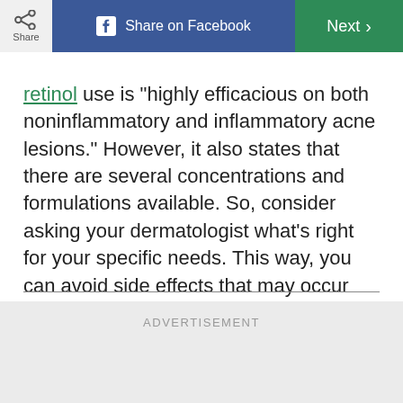Share | Share on Facebook | Next
retinol use is "highly efficacious on both noninflammatory and inflammatory acne lesions." However, it also states that there are several concentrations and formulations available. So, consider asking your dermatologist what's right for your specific needs. This way, you can avoid side effects that may occur with topical retinoids like possible irritation and dryness.
ADVERTISEMENT